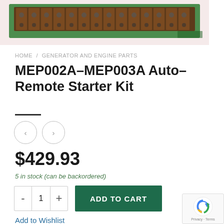[Figure (photo): Close-up photo of a green circuit board with brown/copper terminal blocks and connectors — MEP002A-MEP003A Auto-Remote Starter Kit component]
HOME / GENERATOR AND ENGINE PARTS
MEP002A–MEP003A Auto–Remote Starter Kit
$429.93
5 in stock (can be backordered)
ADD TO CART
Add to Wishlist